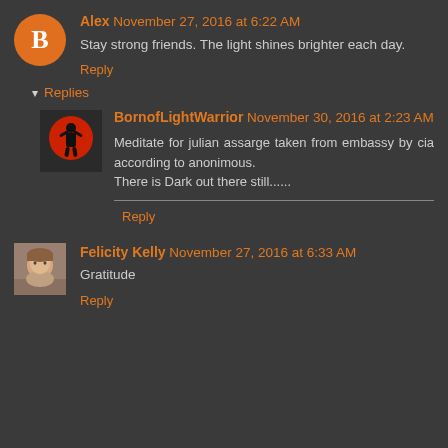Alex November 27, 2016 at 6:22 AM
Stay strong friends. The light shines brighter each day.
Reply
Replies
BornofLightWarrior November 30, 2016 at 2:23 AM
Meditate for julian assarge taken from embassy by cia according to anonimous.
There is Dark out there still......
Reply
Felicity Kelly November 27, 2016 at 6:33 AM
Gratitude
Reply